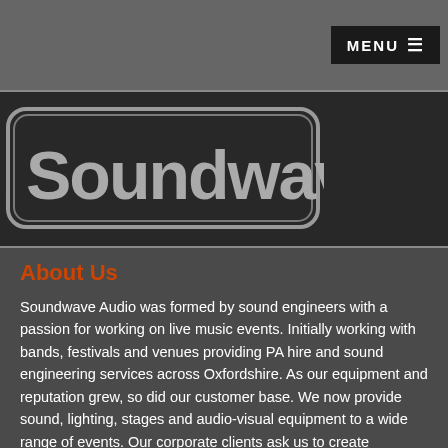MENU ≡
[Figure (logo): Soundwave logo — stylized text 'Soundwave' in grey/silver with rounded rectangle border on dark background]
About Us
Soundwave Audio was formed by sound engineers with a passion for working on live music events. Initially working with bands, festivals and venues providing PA hire and sound engineering services across Oxfordshire. As our equipment and reputation grew, so did our customer base. We now provide sound, lighting, stages and audio-visual equipment to a wide range of events. Our corporate clients ask us to create conferences, roadshows and exhibitions with complex lighting and projection systems. Many of our long term customers are